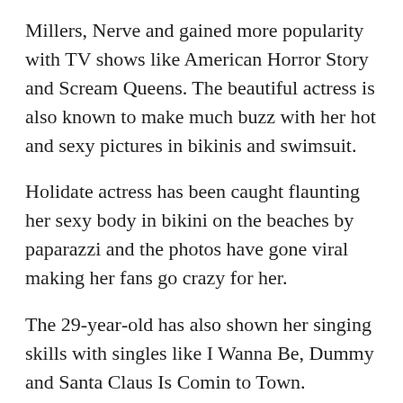Millers, Nerve and gained more popularity with TV shows like American Horror Story and Scream Queens. The beautiful actress is also known to make much buzz with her hot and sexy pictures in bikinis and swimsuit.
Holidate actress has been caught flaunting her sexy body in bikini on the beaches by paparazzi and the photos have gone viral making her fans go crazy for her.
The 29-year-old has also shown her singing skills with singles like I Wanna Be, Dummy and Santa Claus Is Comin to Town.
Emma Roberts, who is the niece of actress Julia Roberts, has also given a number of scenes where she set the screens on fire with her sexy